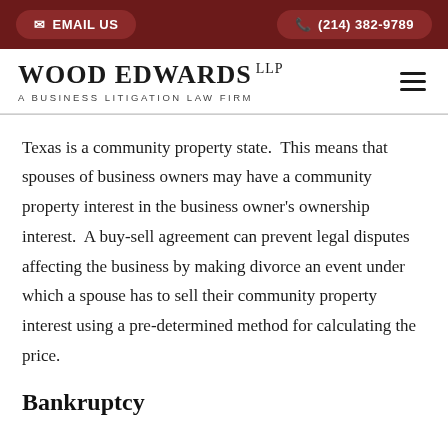EMAIL US | (214) 382-9789
WOOD EDWARDS LLP — A BUSINESS LITIGATION LAW FIRM
Texas is a community property state.  This means that spouses of business owners may have a community property interest in the business owner's ownership interest.  A buy-sell agreement can prevent legal disputes affecting the business by making divorce an event under which a spouse has to sell their community property interest using a pre-determined method for calculating the price.
Bankruptcy